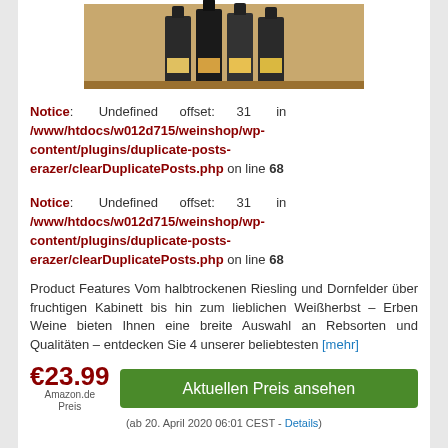[Figure (photo): Photo of wine bottles arranged in a wooden shelf/case]
Notice: Undefined offset: 31 in /www/htdocs/w012d715/weinshop/wp-content/plugins/duplicate-posts-erazer/clearDuplicatePosts.php on line 68
Notice: Undefined offset: 31 in /www/htdocs/w012d715/weinshop/wp-content/plugins/duplicate-posts-erazer/clearDuplicatePosts.php on line 68 Product Features Vom halbtrockenen Riesling und Dornfelder über fruchtigen Kabinett bis hin zum lieblichen Weißherbst – Erben Weine bieten Ihnen eine breite Auswahl an Rebsorten und Qualitäten – entdecken Sie 4 unserer beliebtesten [mehr]
€23.99 Amazon.de Preis (ab 20. April 2020 06:01 CEST - Details)
Wein und Snacks Geschenkkorb erster Wahl – Rotwein mit würzigen Snacks,
[Figure (photo): Photo of a dark gift box with wine and snacks]